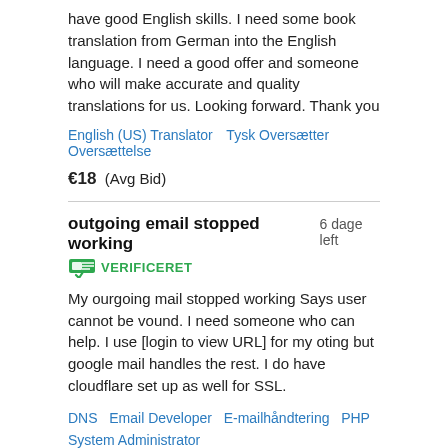have good English skills. I need some book translation from German into the English language. I need a good offer and someone who will make accurate and quality translations for us. Looking forward. Thank you
English (US) Translator   Tysk Oversætter   Oversættelse
€18   (Avg Bid)
outgoing email stopped working   6 dage left
VERIFICERET
My ourgoing mail stopped working Says user cannot be vound. I need someone who can help. I use [login to view URL] for my oting but google mail handles the rest. I do have cloudflare set up as well for SSL.
DNS   Email Developer   E-mailhåndtering   PHP   System Administrator
€43   (Avg Bid)